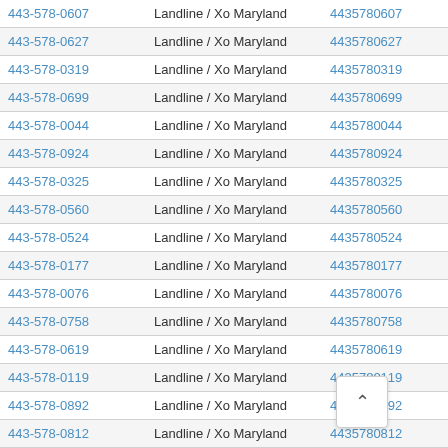| Phone | Type | Number | Action |
| --- | --- | --- | --- |
| 443-578-0607 | Landline / Xo Maryland | 4435780607 | View Resul |
| 443-578-0627 | Landline / Xo Maryland | 4435780627 | View Resul |
| 443-578-0319 | Landline / Xo Maryland | 4435780319 | View Resul |
| 443-578-0699 | Landline / Xo Maryland | 4435780699 | View Resul |
| 443-578-0044 | Landline / Xo Maryland | 4435780044 | View Resul |
| 443-578-0924 | Landline / Xo Maryland | 4435780924 | View Resul |
| 443-578-0325 | Landline / Xo Maryland | 4435780325 | View Resul |
| 443-578-0560 | Landline / Xo Maryland | 4435780560 | View Resul |
| 443-578-0524 | Landline / Xo Maryland | 4435780524 | View Resul |
| 443-578-0177 | Landline / Xo Maryland | 4435780177 | View Resul |
| 443-578-0076 | Landline / Xo Maryland | 4435780076 | View Resul |
| 443-578-0758 | Landline / Xo Maryland | 4435780758 | View Resul |
| 443-578-0619 | Landline / Xo Maryland | 4435780619 | View Resul |
| 443-578-0119 | Landline / Xo Maryland | 4435780119 | View Resul |
| 443-578-0892 | Landline / Xo Maryland | 4435780892 | View Resul |
| 443-578-0812 | Landline / Xo Maryland | 4435780812 | View Resul |
| 443-578-0860 | Landline / Xo Maryland | 4435780860 | View Resul |
| 443-578-0563 | Landline / Xo Maryland | 4435780563 | View Resul |
| 443-578-0??? | Landline / Xo Maryland | 4435780??? | View Resul |